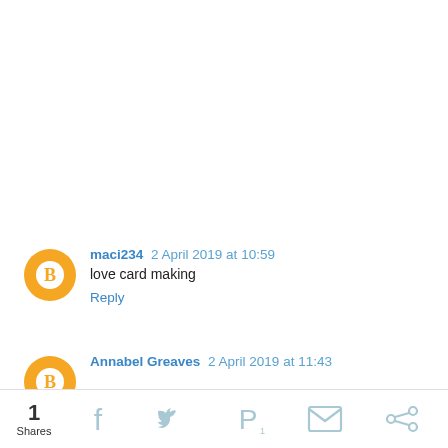maci234  2 April 2019 at 10:59
love card making
Reply
Annabel Greaves  2 April 2019 at 11:43
1 Shares